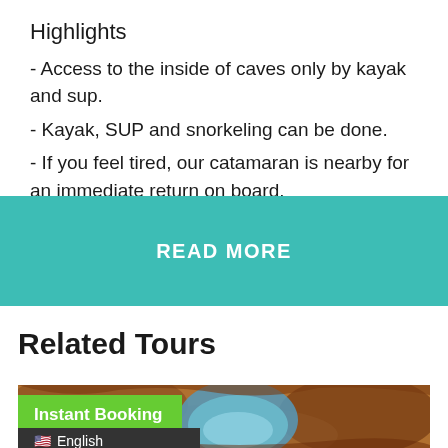Highlights
- Access to the inside of caves only by kayak and sup.
- Kayak, SUP and snorkeling can be done.
- If you feel tired, our catamaran is nearby for an immediate return on board.
READ MORE
Related Tours
[Figure (photo): Cave interior with orange rocky walls and a blue water passage, viewed from inside]
Instant Booking
English